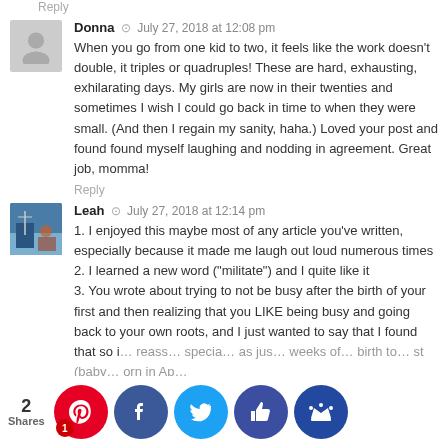Reply
Donna  ·  July 27, 2018 at 12:08 pm
When you go from one kid to two, it feels like the work doesn't double, it triples or quadruples! These are hard, exhausting, exhilarating days. My girls are now in their twenties and sometimes I wish I could go back in time to when they were small. (And then I regain my sanity, haha.) Loved your post and found found myself laughing and nodding in agreement. Great job, momma!
Reply
Leah  ·  July 27, 2018 at 12:14 pm
1. I enjoyed this maybe most of any article you've written, especially because it made me laugh out loud numerous times
2. I learned a new word ("militate") and I quite like it
3. You wrote about trying to not be busy after the birth of your first and then realizing that you LIKE being busy and going back to your own roots, and I just wanted to say that I found that so i… reass… specia… as jus… weeks o… birth to… st (baby… orn in Ap…